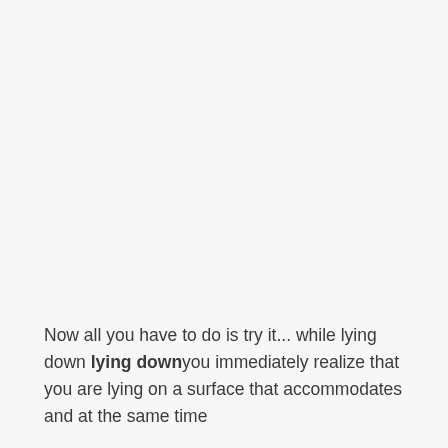Now all you have to do is try it... while lying down lying downyou immediately realize that you are lying on a surface that accommodates and at the same time